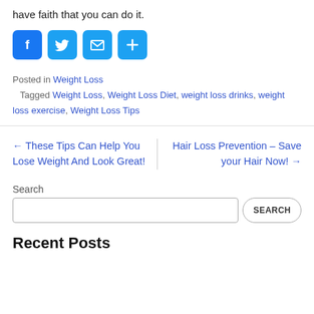have faith that you can do it.
[Figure (infographic): Social share icons: Facebook (blue), Twitter (blue bird), Email (blue envelope), More/Add (blue plus)]
Posted in Weight Loss
Tagged Weight Loss, Weight Loss Diet, weight loss drinks, weight loss exercise, Weight Loss Tips
← These Tips Can Help You Lose Weight And Look Great!
Hair Loss Prevention – Save your Hair Now! →
Search
Recent Posts